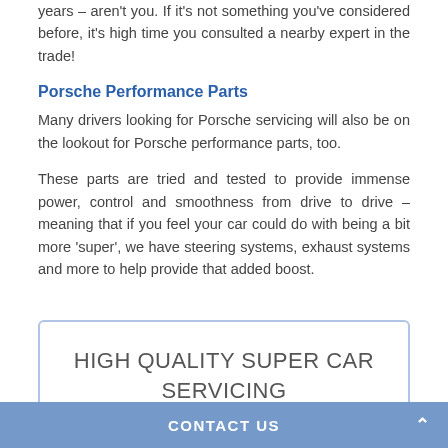years – aren't you. If it's not something you've considered before, it's high time you consulted a nearby expert in the trade!
Porsche Performance Parts
Many drivers looking for Porsche servicing will also be on the lookout for Porsche performance parts, too.
These parts are tried and tested to provide immense power, control and smoothness from drive to drive – meaning that if you feel your car could do with being a bit more 'super', we have steering systems, exhaust systems and more to help provide that added boost.
[Figure (other): Promotional box with text: HIGH QUALITY SUPER CAR SERVICING]
CONTACT US